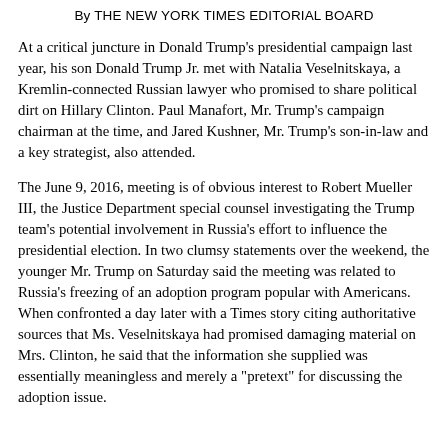By THE NEW YORK TIMES EDITORIAL BOARD
At a critical juncture in Donald Trump's presidential campaign last year, his son Donald Trump Jr. met with Natalia Veselnitskaya, a Kremlin-connected Russian lawyer who promised to share political dirt on Hillary Clinton. Paul Manafort, Mr. Trump's campaign chairman at the time, and Jared Kushner, Mr. Trump's son-in-law and a key strategist, also attended.
The June 9, 2016, meeting is of obvious interest to Robert Mueller III, the Justice Department special counsel investigating the Trump team's potential involvement in Russia's effort to influence the presidential election. In two clumsy statements over the weekend, the younger Mr. Trump on Saturday said the meeting was related to Russia's freezing of an adoption program popular with Americans. When confronted a day later with a Times story citing authoritative sources that Ms. Veselnitskaya had promised damaging material on Mrs. Clinton, he said that the information she supplied was essentially meaningless and merely a "pretext" for discussing the adoption issue.